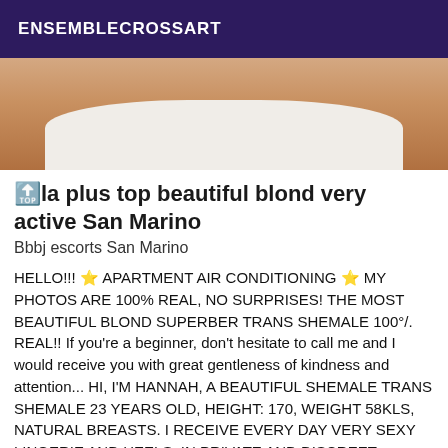ENSEMBLECROSSART
[Figure (photo): Partial photo of a person in white clothing, cropped, showing torso area]
🔝la plus top beautiful blond very active San Marino
Bbbj escorts San Marino
HELLO!!! 🌟 APARTMENT AIR CONDITIONING 🌟 MY PHOTOS ARE 100% REAL, NO SURPRISES! THE MOST BEAUTIFUL BLOND SUPERBER TRANS SHEMALE 100°/. REAL!! If you're a beginner, don't hesitate to call me and I would receive you with great gentleness of kindness and attention... HI, I'M HANNAH, A BEAUTIFUL SHEMALE TRANS SHEMALE 23 YEARS OLD, HEIGHT: 170, WEIGHT 58KLS, NATURAL BREASTS. I RECEIVE EVERY DAY VERY SEXY LINGERIE AND HEELS. IN PRIVATE AND DISCREET APARTMENT. I PROPOSE YOU AN UNFORGETTABLE